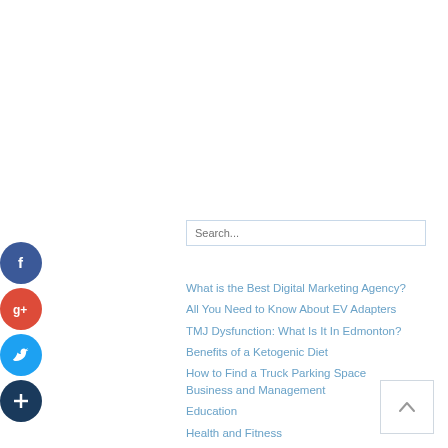[Figure (other): Social media share icons: Facebook (blue circle with f), Google+ (red circle with g+), Twitter (blue circle with bird), More/Plus (dark blue circle with +)]
Search...
What is the Best Digital Marketing Agency?
All You Need to Know About EV Adapters
TMJ Dysfunction: What Is It In Edmonton?
Benefits of a Ketogenic Diet
How to Find a Truck Parking Space
Business and Management
Education
Health and Fitness
Home and Garden
[Figure (other): Back to top button: square with upward chevron arrow]